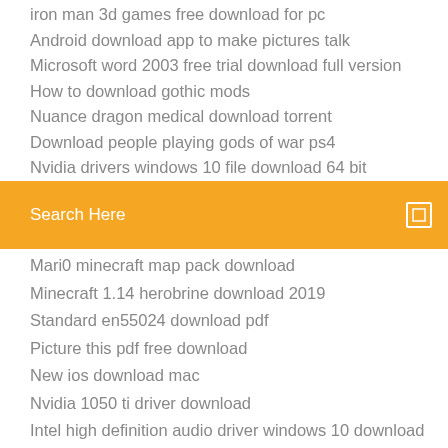iron man 3d games free download for pc
Android download app to make pictures talk
Microsoft word 2003 free trial download full version
How to download gothic mods
Nuance dragon medical download torrent
Download people playing gods of war ps4
Nvidia drivers windows 10 file download 64 bit
[Figure (screenshot): Orange search bar with text 'Search Here' and a small square icon on the right]
Mari0 minecraft map pack download
Minecraft 1.14 herobrine download 2019
Standard en55024 download pdf
Picture this pdf free download
New ios download mac
Nvidia 1050 ti driver download
Intel high definition audio driver windows 10 download
Avg cleaner pro free download apk
How do i download a messanger gif
Minecraft planet game download